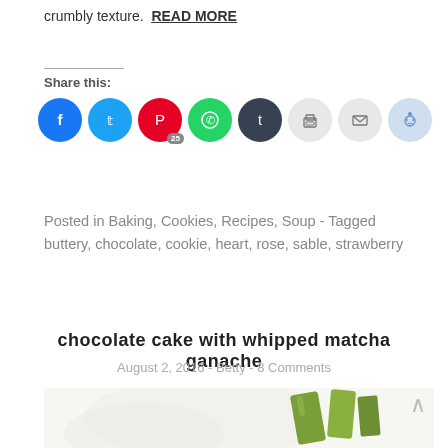crumbly texture. READ MORE
Share this:
[Figure (infographic): Row of social sharing icon buttons: Facebook (blue), Twitter (blue), Pinterest (red, badge 25), WhatsApp (green), Tumblr (dark), Print (light grey), Email (light grey), Reddit (light blue)]
Posted in Baking, Cookies, Recipes, Soup - Tagged buttery, chocolate, cookie, heart, rose, sable, strawberry
chocolate cake with whipped matcha ganache
August 2, 2016 - Betty - 8 Comments
[Figure (photo): Partial photo of chocolate cake with whipped matcha ganache, showing green matcha garnish/decoration on white background]